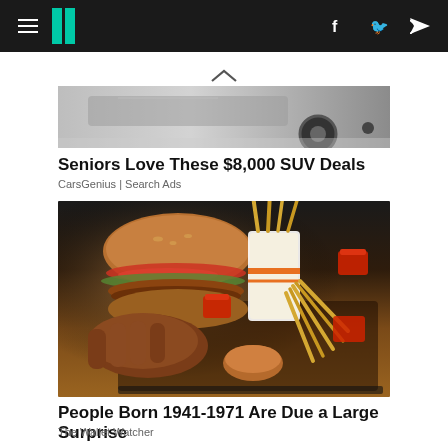HuffPost navigation bar with hamburger menu, logo, Facebook and Twitter icons
[Figure (photo): Partial view of a car advertisement showing rear wheel and car body in grayscale]
Seniors Love These $8,000 SUV Deals
CarsGenius | Search Ads
[Figure (photo): A hand holding a bitten burger over a fast food tray with french fries spilling out of a paper cup, dipping sauces visible on the tray]
People Born 1941-1971 Are Due a Large Surprise
The Wallet Watcher